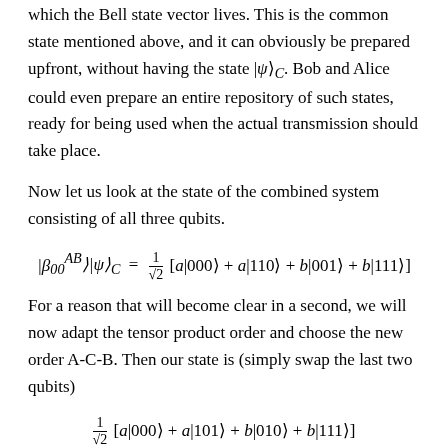which the Bell state vector lives. This is the common state mentioned above, and it can obviously be prepared upfront, without having the state |ψ⟩_C. Bob and Alice could even prepare an entire repository of such states, ready for being used when the actual transmission should take place.
Now let us look at the state of the combined system consisting of all three qubits.
For a reason that will become clear in a second, we will now adapt the tensor product order and choose the new order A-C-B. Then our state is (simply swap the last two qubits)